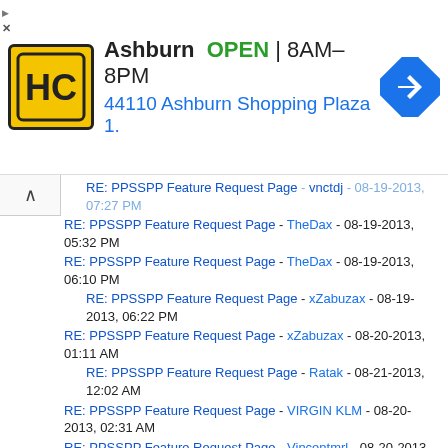[Figure (advertisement): Ad banner for HC Ashburn location: OPEN 8AM-8PM, 44110 Ashburn Shopping Plaza 1.]
RE: PPSSPP Feature Request Page - vnctdj - 08-19-2013, 07:27 PM
RE: PPSSPP Feature Request Page - TheDax - 08-19-2013, 05:32 PM
RE: PPSSPP Feature Request Page - TheDax - 08-19-2013, 06:10 PM
RE: PPSSPP Feature Request Page - xZabuzax - 08-19-2013, 06:22 PM
RE: PPSSPP Feature Request Page - xZabuzax - 08-20-2013, 01:11 AM
RE: PPSSPP Feature Request Page - Ratak - 08-21-2013, 12:02 AM
RE: PPSSPP Feature Request Page - VIRGIN KLM - 08-20-2013, 02:31 AM
RE: PPSSPP Feature Request Page - Vincentmrl - 08-20-2013, 10:10 AM
RE: PPSSPP Feature Request Page - killerhaha100 - 08-21-2013, 01:52 AM
RE: PPSSPP Feature Request Page - bomberman46 - 08-21-2013, 02:12 AM
RE: PPSSPP Feature Request Page - TheDax - 08-21-2013, 08:05 AM
RE: PPSSPP Feature Request Page - xZabuzax - 08-21-2013, 08:51 AM
RE: PPSSPP Feature Request Page - TheDax - 08-21-2013, 08:59 AM